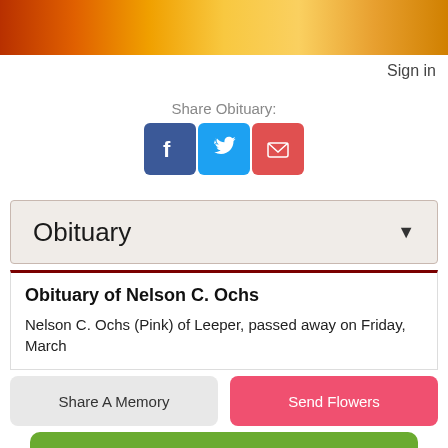[Figure (other): Orange gradient header banner]
Sign in
Share Obituary:
[Figure (other): Social share icons: Facebook, Twitter, Email]
Obituary
Obituary of Nelson C. Ochs
Nelson C. Ochs (Pink) of Leeper, passed away on Friday, March
Share A Memory
Send Flowers
Plant A Tree